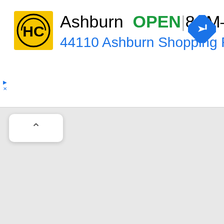[Figure (screenshot): Advertisement banner for Hairclub (HC) showing store location in Ashburn, marked OPEN with hours 8AM-8PM, address 44110 Ashburn Shopping Plaza 1., with a navigation/directions icon on the right. Below the ad are UI elements including a scroll-up button and partially visible web page content with text including '.2020', 'Tuto', '024', 'abo', 'unti', 'buf', 'obje', 'add', 'One', 'more'.]